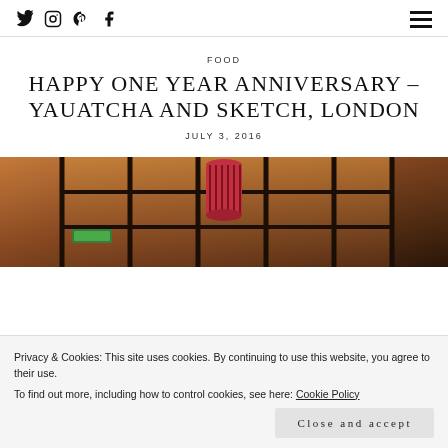Social icons: Twitter, Instagram, Pinterest, Facebook; Hamburger menu
FOOD
HAPPY ONE YEAR ANNIVERSARY – YAUATCHA AND SKETCH, LONDON
JULY 3, 2016
[Figure (photo): Interior photo of a restaurant with warm amber/orange tones, grid-pane windows, and a striped red lantern hanging from the ceiling. Atmospheric low-light photography.]
Privacy & Cookies: This site uses cookies. By continuing to use this website, you agree to their use.
To find out more, including how to control cookies, see here: Cookie Policy
Close and accept